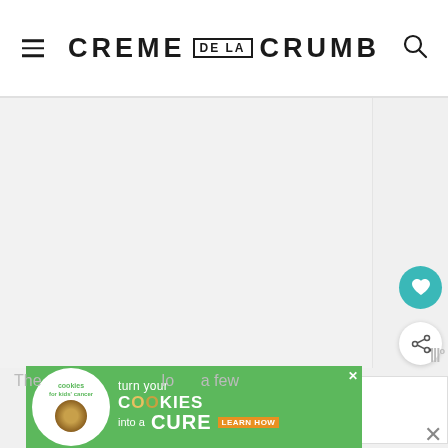CREME DE LA CRUMB
[Figure (screenshot): Website screenshot of Creme de la Crumb food blog. Large white/light gray content area for main food image (not loaded). Right side shows floating heart (teal) and share buttons, plus a 'What's Next' card showing Garlic Steak and Potato... with a food thumbnail. Bottom has a green ad banner for Cookies for Kids' Cancer 'turn your cookies into a cure'. Partial text at very bottom reads 'The... lo... a few']